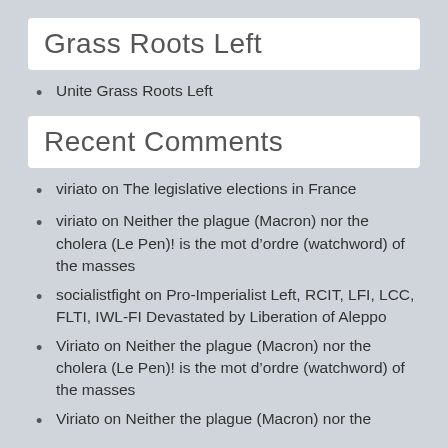Grass Roots Left
Unite Grass Roots Left
Recent Comments
viriato on The legislative elections in France
viriato on Neither the plague (Macron) nor the cholera (Le Pen)!  is the mot d'ordre (watchword) of the masses
socialistfight on Pro-Imperialist Left, RCIT, LFI, LCC, FLTI, IWL-FI Devastated by Liberation of Aleppo
Viriato on Neither the plague (Macron) nor the cholera (Le Pen)!  is the mot d'ordre (watchword) of the masses
Viriato on Neither the plague (Macron) nor the